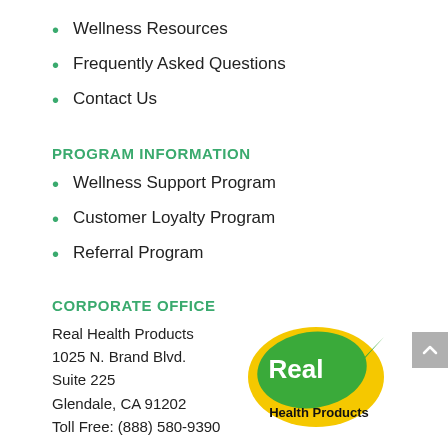Wellness Resources
Frequently Asked Questions
Contact Us
PROGRAM INFORMATION
Wellness Support Program
Customer Loyalty Program
Referral Program
CORPORATE OFFICE
Real Health Products
1025 N. Brand Blvd.
Suite 225
Glendale, CA 91202
[Figure (logo): Real Health Products logo: green leaf with yellow circle, white text 'Real' inside leaf, black text 'Health Products' below]
Toll Free: (888) 580-9390